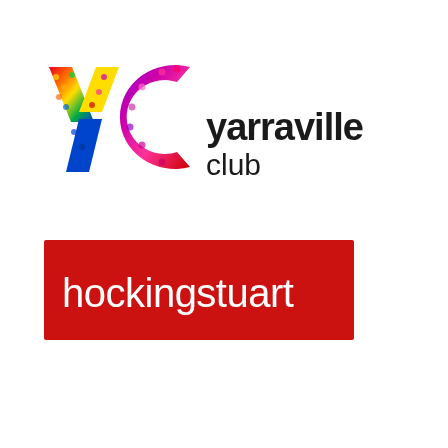[Figure (logo): Yarraville Club logo: colorful 'yc' letters in rainbow/multicolor with dots pattern, followed by bold black 'yarraville' text and lighter 'club' text]
[Figure (logo): hockingstuart logo: white lowercase text 'hockingstuart' on a red rectangular background]